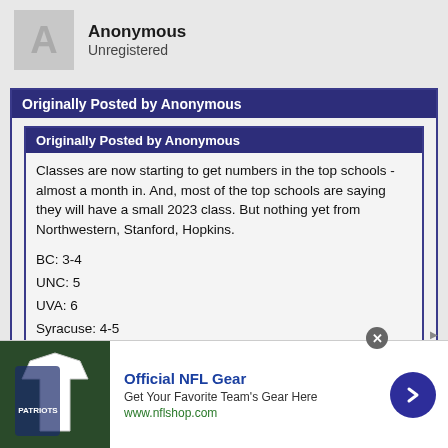Anonymous
Unregistered
Originally Posted by Anonymous
Originally Posted by Anonymous
Classes are now starting to get numbers in the top schools - almost a month in. And, most of the top schools are saying they will have a small 2023 class. But nothing yet from Northwestern, Stanford, Hopkins.
BC: 3-4
UNC: 5
UVA: 6
Syracuse: 4-5
Princeton: 6
Penn: 5
[Figure (infographic): Advertisement banner for Official NFL Gear with team jersey image, text 'Get Your Favorite Team's Gear Here', URL www.nflshop.com, and a blue circular arrow button]